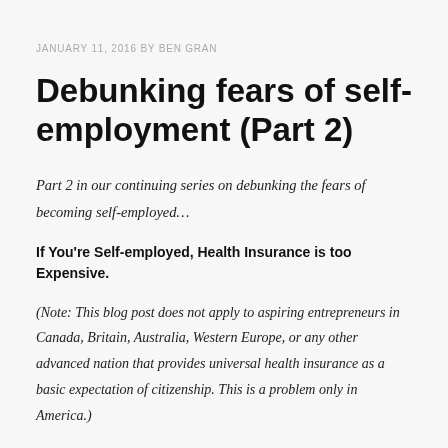JANUARY 11, 2016 BY BEN GRAN
Debunking fears of self-employment (Part 2)
Part 2 in our continuing series on debunking the fears of becoming self-employed…
If You're Self-employed, Health Insurance is too Expensive.
(Note: This blog post does not apply to aspiring entrepreneurs in Canada, Britain, Australia, Western Europe, or any other advanced nation that provides universal health insurance as a basic expectation of citizenship. This is a problem only in America.)